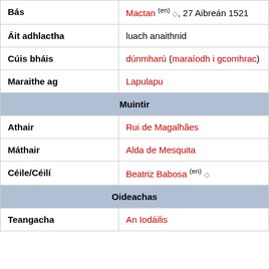| Bás | Mactan (en) ◇, 27 Aibreán 1521 |
| Áit adhlactha | luach anaithnid |
| Cúis bháis | dúnmharú (maraíodh i gcomhrac) |
| Maraithe ag | Lapulapu |
| Muintir |  |
| Athair | Rui de Magalhães |
| Máthair | Alda de Mesquita |
| Céile/Céilí | Beatriz Babosa (en) ◇ |
| Oideachas |  |
| Teangacha | An Iodáilis |